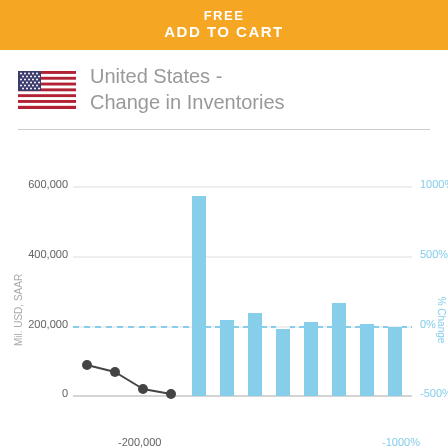FREE
ADD TO CART
United States - Change in Inventories
[Figure (bar-chart): Bar and line chart showing Change in Inventories for the United States. Y-axis left: Mil. USD, SAAR with gridlines at 0, 200,000, 400,000, 600,000. Y-axis right: % Change with labels -500%, 0%, 500%, 1000%. Bars in light blue, line with dots in dark grey/black for earlier periods.]